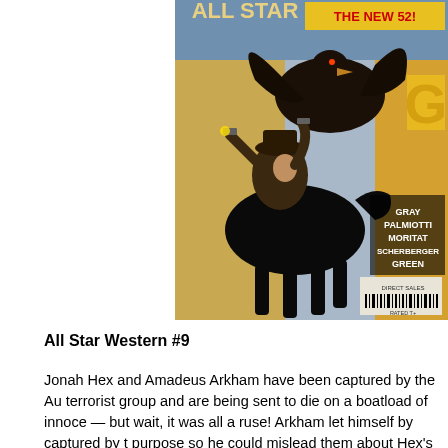[Figure (illustration): Comic book cover for All Star Western #9 from DC's The New 52 line. Shows a cowboy (Jonah Hex) on a black horse shooting at a large dark bird (raven/crow) in mid-air, with a Western town backdrop. Credits list Gray, Palmiotti, Moritat, Scherberger, Green. Barcode visible at bottom. 'THE NEW 52!' banner at top.]
All Star Western #9
Jonah Hex and Amadeus Arkham have been captured by the Au terrorist group and are being sent to die on a boatload of innoce — but wait, it was all a ruse! Arkham let himself by captured by t purpose so he could mislead them about Hex's plans. That gives